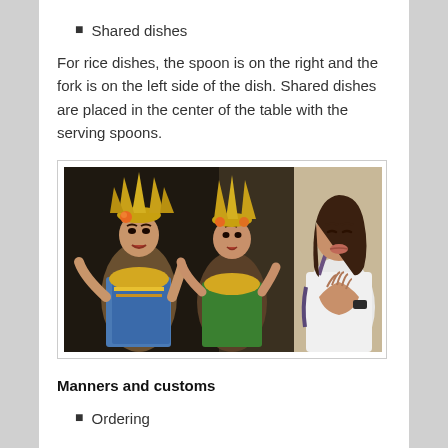Shared dishes
For rice dishes, the spoon is on the right and the fork is on the left side of the dish. Shared dishes are placed in the center of the table with the serving spoons.
[Figure (photo): Photo showing two Thai women in traditional golden headdresses and colorful costumes performing a traditional dance, alongside a woman in casual white attire with hands pressed together in a prayer gesture.]
Manners and customs
Ordering